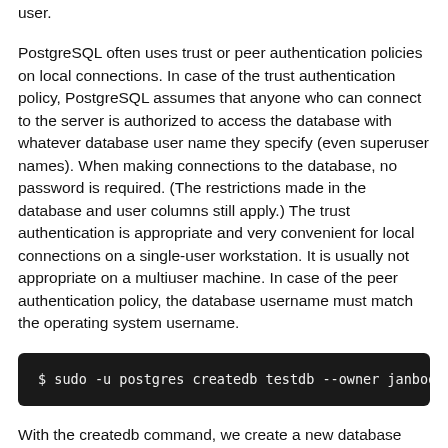user.
PostgreSQL often uses trust or peer authentication policies on local connections. In case of the trust authentication policy, PostgreSQL assumes that anyone who can connect to the server is authorized to access the database with whatever database user name they specify (even superuser names). When making connections to the database, no password is required. (The restrictions made in the database and user columns still apply.) The trust authentication is appropriate and very convenient for local connections on a single-user workstation. It is usually not appropriate on a multiuser machine. In case of the peer authentication policy, the database username must match the operating system username.
$ sudo -u postgres createdb testdb --owner janbodnar
With the createdb command, we create a new database